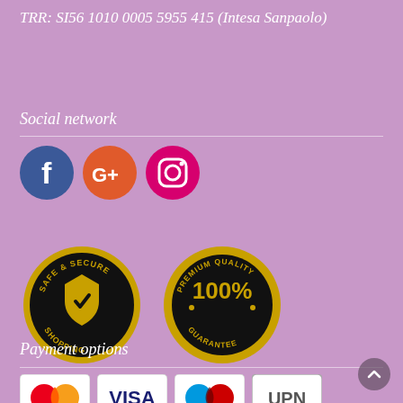TRR: SI56 1010 0005 5955 415 (Intesa Sanpaolo)
Social network
[Figure (infographic): Three social media icons: Facebook (blue circle with white F), Google+ (orange-red circle with white G+), Instagram (pink circle with white camera icon)]
[Figure (infographic): Two badge seals: 'Safe & Secure Shopping' gold badge with shield checkmark, and 'Premium Quality 100% Guarantee' gold badge]
Payment options
[Figure (infographic): Payment method logos: MasterCard, Visa, Maestro, UPN]